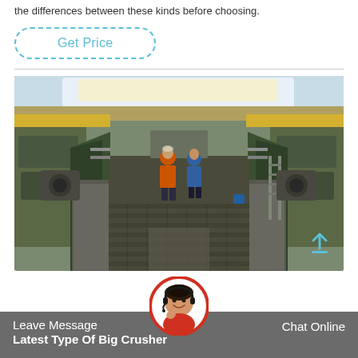the differences between these kinds before choosing.
Get Price
[Figure (photo): Industrial facility interior showing a long conveyor or processing line with green metal troughs/channels on both sides, heavy machinery and gearboxes visible, yellow overhead crane rails, bright skylights, and two workers in orange high-visibility vests working in the middle of the aisle. Metal grating walkway visible in foreground.]
Leave Message
Latest Type Of Big Crusher
Chat Online